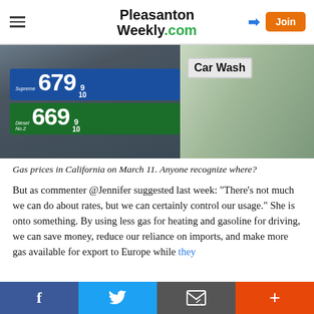PleasantonWeekly.com
[Figure (photo): Gas price sign showing Supreme 679 9/10 and Diesel No.2 669 9/10 on blue and green signs, with a Car Wash sign visible on the right side. Gas prices in California on March 11.]
Gas prices in California on March 11. Anyone recognize where?
But as commenter @Jennifer suggested last week: “There's not much we can do about rates, but we can certainly control our usage.” She is onto something. By using less gas for heating and gasoline for driving, we can save money, reduce our reliance on imports, and make more gas available for export to Europe while they
Facebook | Twitter | Email | More